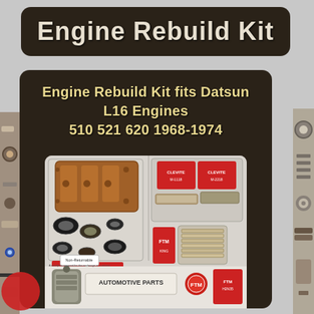Engine Rebuild Kit
Engine Rebuild Kit fits Datsun L16 Engines 510 521 620 1968-1974
[Figure (photo): Photo of engine rebuild kit components including gaskets, bearings, and automotive parts packaged together on a light background]